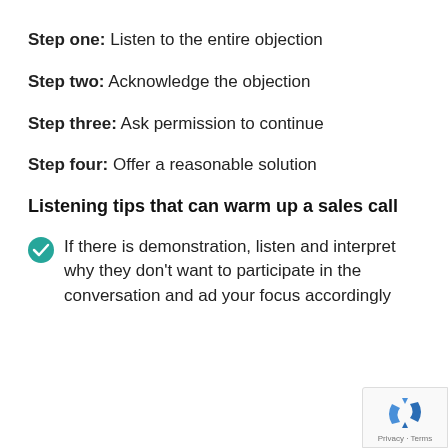Step one: Listen to the entire objection
Step two: Acknowledge the objection
Step three: Ask permission to continue
Step four: Offer a reasonable solution
Listening tips that can warm up a sales call
If there is demonstration, listen and interpret why they don't want to participate in the conversation and adjust your focus accordingly